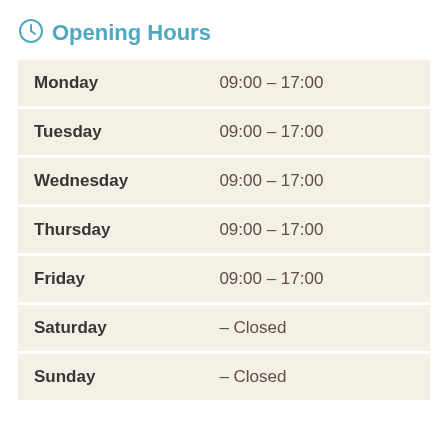Opening Hours
| Day | Hours |
| --- | --- |
| Monday | 09:00 – 17:00 |
| Tuesday | 09:00 – 17:00 |
| Wednesday | 09:00 – 17:00 |
| Thursday | 09:00 – 17:00 |
| Friday | 09:00 – 17:00 |
| Saturday | – Closed |
| Sunday | – Closed |